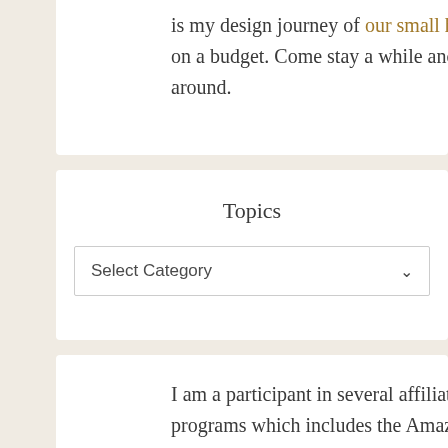is my design journey of our small home on a budget. Come stay a while and look around.
Topics
Select Category
I am a participant in several affiliate programs which includes the Amazon Services LLC Associates Program, an affiliate advertising